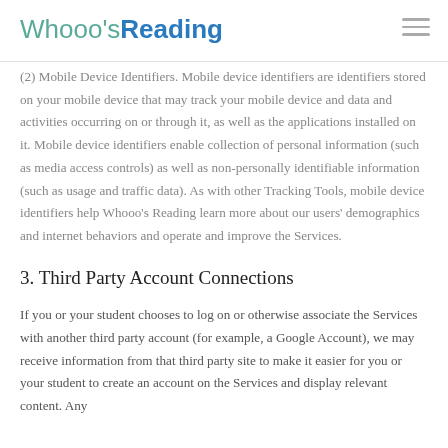Whooo's Reading
(2) Mobile Device Identifiers. Mobile device identifiers are identifiers stored on your mobile device that may track your mobile device and data and activities occurring on or through it, as well as the applications installed on it. Mobile device identifiers enable collection of personal information (such as media access controls) as well as non-personally identifiable information (such as usage and traffic data). As with other Tracking Tools, mobile device identifiers help Whooo's Reading learn more about our users' demographics and internet behaviors and operate and improve the Services.
3. Third Party Account Connections
If you or your student chooses to log on or otherwise associate the Services with another third party account (for example, a Google Account), we may receive information from that third party site to make it easier for you or your student to create an account on the Services and display relevant content. Any